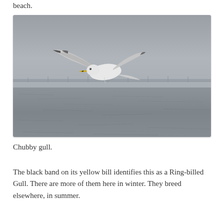beach.
[Figure (photo): A seagull (Ring-billed Gull) in flight over water with a bridge visible in the background. The bird is white and gray with wings spread, flying against a gray overcast sky. The water below is choppy and gray. A long bridge or causeway is visible in the mid-distance.]
Chubby gull.
The black band on its yellow bill identifies this as a Ring-billed Gull. There are more of them here in winter. They breed elsewhere, in summer.